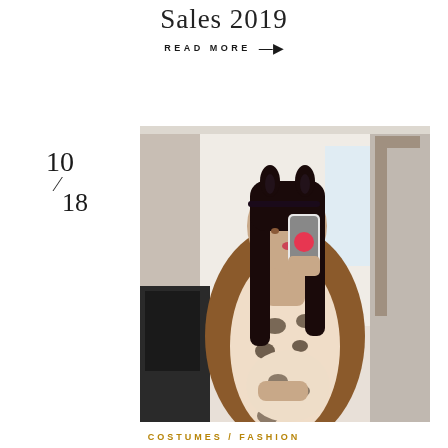Sales 2019
READ MORE →
10 / 18
[Figure (photo): A pregnant woman wearing a leopard print bodysuit and cat ears headband, draped with a brown faux fur coat, taking a mirror selfie. Room interior visible in background.]
COSTUMES / FASHION